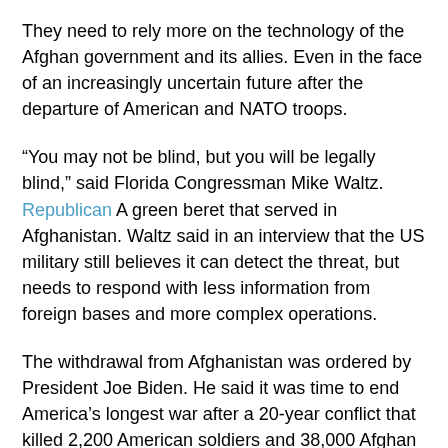They need to rely more on the technology of the Afghan government and its allies. Even in the face of an increasingly uncertain future after the departure of American and NATO troops.
“You may not be blind, but you will be legally blind,” said Florida Congressman Mike Waltz. Republican A green beret that served in Afghanistan. Waltz said in an interview that the US military still believes it can detect the threat, but needs to respond with less information from foreign bases and more complex operations.
The withdrawal from Afghanistan was ordered by President Joe Biden. He said it was time to end America’s longest war after a 20-year conflict that killed 2,200 American soldiers and 38,000 Afghan civilians at a cost of $ 1,000 billion.
However, withdrawal brings a lot of uncertainty as a resurrection. Taliban The fear is exacerbated by the realization that the country could soon slide into a civil war. The United States has deployed counterterrorism forces to the region and is still working on a deal to